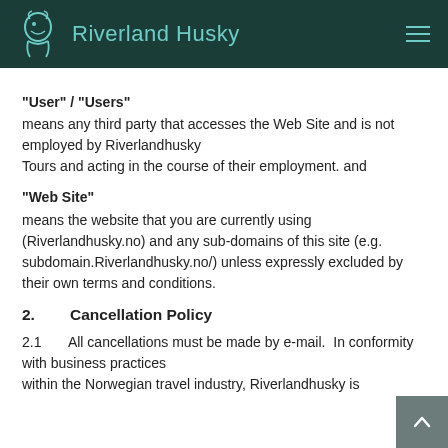Riverland Husky
“User” / “Users”
means any third party that accesses the Web Site and is not employed by Riverlandhusky Tours and acting in the course of their employment. and
“Web Site”
means the website that you are currently using (Riverlandhusky.no) and any sub-domains of this site (e.g. subdomain.Riverlandhusky.no/) unless expressly excluded by their own terms and conditions.
2.        Cancellation Policy
2.1        All cancellations must be made by e-mail.  In conformity with business practices within the Norwegian travel industry, Riverlandhusky is